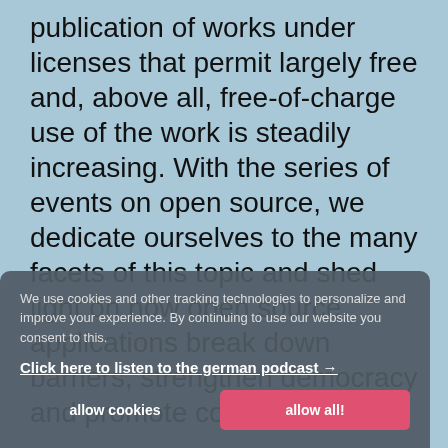publication of works under licenses that permit largely free and, above all, free-of-charge use of the work is steadily increasing. With the series of events on open source, we dedicate ourselves to the many facets of this topic and shed light on how open source applications break down barriers, strengthen democracy and promote commitment.
We use cookies and other tracking technologies to personalize and improve your experience. By continuing to use our website you consent to this.
Click here to listen to the german podcast →
allow cookies
allow all!